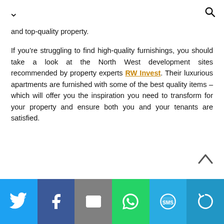↓  🔍
and top-quality property.
If you're struggling to find high-quality furnishings, you should take a look at the North West development sites recommended by property experts RW Invest. Their luxurious apartments are furnished with some of the best quality items – which will offer you the inspiration you need to transform for your property and ensure both you and your tenants are satisfied.
[Figure (infographic): Social share bar with Twitter, Facebook, Email, WhatsApp, SMS, and More buttons]